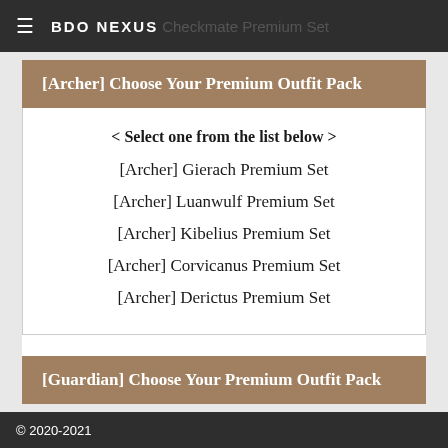BDO NEXUS Checkmate Premium Set
[Archer] Choose Your Premium Outfit Pack
< Select one from the list below >
[Archer] Gierach Premium Set
[Archer] Luanwulf Premium Set
[Archer] Kibelius Premium Set
[Archer] Corvicanus Premium Set
[Archer] Derictus Premium Set
[Guardian] Choose Your Premium Outfit Pack
© 2020-2021